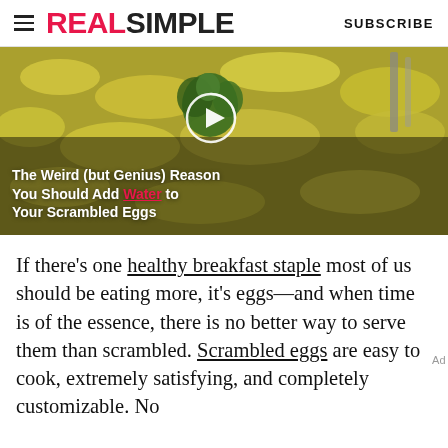REAL SIMPLE | SUBSCRIBE
[Figure (screenshot): Video thumbnail showing scrambled eggs with a play button overlay. Caption text reads: The Weird (but Genius) Reason You Should Add Water to Your Scrambled Eggs]
If there’s one healthy breakfast staple most of us should be eating more, it’s eggs—and when time is of the essence, there is no better way to serve them than scrambled. Scrambled eggs are easy to cook, extremely satisfying, and completely customizable. No